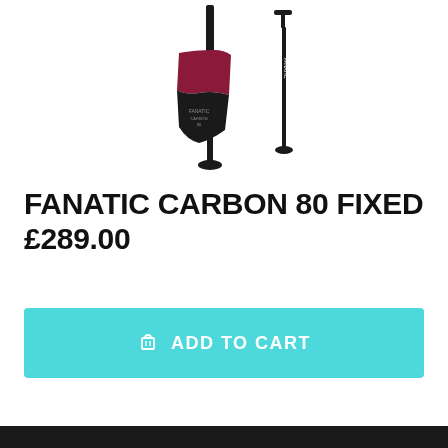[Figure (photo): Product photo of a Fanatic Carbon 80 Fixed paddle — a black and dark red/maroon SUP paddle blade with shaft, shown alongside the full paddle shaft with handle, on a white background.]
FANATIC CARBON 80 FIXED
£289.00
ADD TO CART